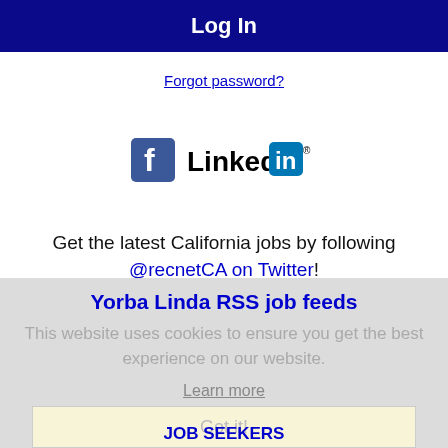Log In
Forgot password?
[Figure (logo): Facebook logo icon and LinkedIn logo icon side by side]
Get the latest California jobs by following @recnetCA on Twitter!
Yorba Linda RSS job feeds
This website uses cookies to ensure you get the best experience on our website.
Learn more
Got it!
JOB SEEKERS